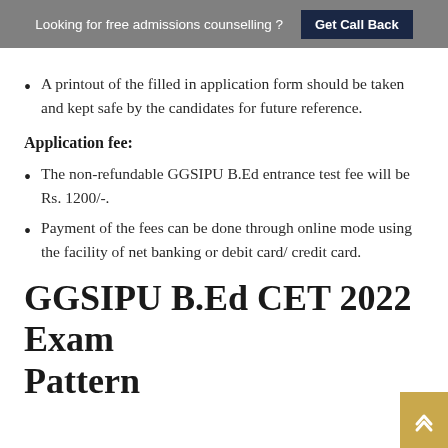Looking for free admissions counselling ? Get Call Back
A printout of the filled in application form should be taken and kept safe by the candidates for future reference.
Application fee:
The non-refundable GGSIPU B.Ed entrance test fee will be Rs. 1200/-.
Payment of the fees can be done through online mode using the facility of net banking or debit card/ credit card.
GGSIPU B.Ed CET 2022 Exam Pattern